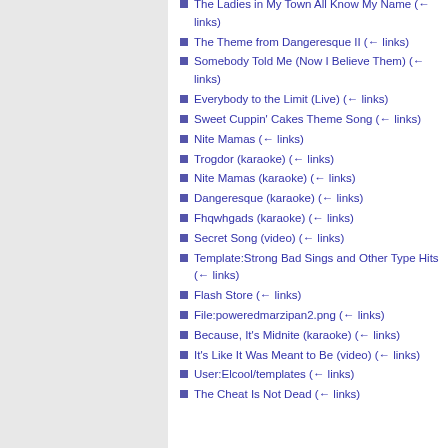The Ladies in My Town All Know My Name (← links)
The Theme from Dangeresque II (← links)
Somebody Told Me (Now I Believe Them) (← links)
Everybody to the Limit (Live) (← links)
Sweet Cuppin' Cakes Theme Song (← links)
Nite Mamas (← links)
Trogdor (karaoke) (← links)
Nite Mamas (karaoke) (← links)
Dangeresque (karaoke) (← links)
Fhqwhgads (karaoke) (← links)
Secret Song (video) (← links)
Template:Strong Bad Sings and Other Type Hits (← links)
Flash Store (← links)
File:poweredmarzipan2.png (← links)
Because, It's Midnite (karaoke) (← links)
It's Like It Was Meant to Be (video) (← links)
User:Elcool/templates (← links)
The Cheat Is Not Dead (← links)